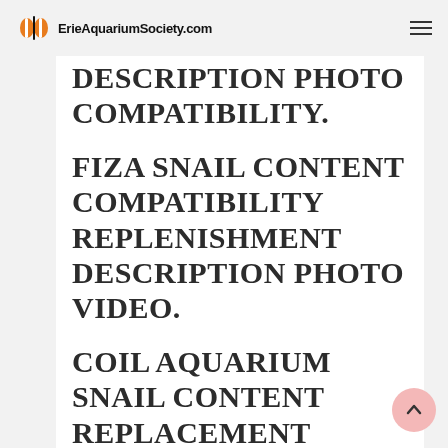ErieAquariumSociety.com
DESCRIPTION PHOTO COMPATIBILITY.
FIZA SNAIL CONTENT COMPATIBILITY REPLENISHMENT DESCRIPTION PHOTO VIDEO.
COIL AQUARIUM SNAIL CONTENT REPLACEMENT COMPATIBILITY